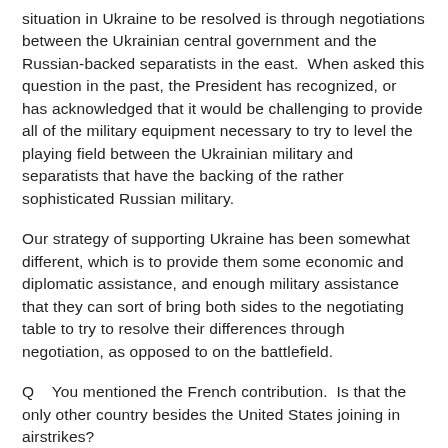situation in Ukraine to be resolved is through negotiations between the Ukrainian central government and the Russian-backed separatists in the east.  When asked this question in the past, the President has recognized, or has acknowledged that it would be challenging to provide all of the military equipment necessary to try to level the playing field between the Ukrainian military and separatists that have the backing of the rather sophisticated Russian military.
Our strategy of supporting Ukraine has been somewhat different, which is to provide them some economic and diplomatic assistance, and enough military assistance that they can sort of bring both sides to the negotiating table to try to resolve their differences through negotiation, as opposed to on the battlefield.
Q    You mentioned the French contribution.  Is that the only other country besides the United States joining in airstrikes?
MR. FARNEST:  Well, Steve, as I've mentioned a couple of